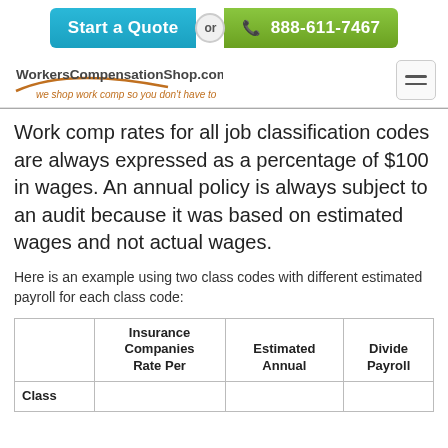[Figure (screenshot): Start a Quote or 888-611-7467 banner button]
[Figure (logo): WorkersCompensationShop.com logo with tagline 'we shop work comp so you don't have to']
Work comp rates for all job classification codes are always expressed as a percentage of $100 in wages. An annual policy is always subject to an audit because it was based on estimated wages and not actual wages.
Here is an example using two class codes with different estimated payroll for each class code:
| Class | Insurance Companies Rate Per | Estimated Annual | Divide Payroll |
| --- | --- | --- | --- |